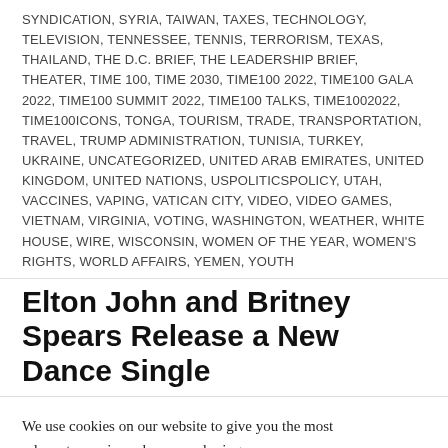SYNDICATION, SYRIA, TAIWAN, TAXES, TECHNOLOGY, TELEVISION, TENNESSEE, TENNIS, TERRORISM, TEXAS, THAILAND, THE D.C. BRIEF, THE LEADERSHIP BRIEF, THEATER, TIME 100, TIME 2030, TIME100 2022, TIME100 GALA 2022, TIME100 SUMMIT 2022, TIME100 TALKS, TIME1002022, TIME100ICONS, TONGA, TOURISM, TRADE, TRANSPORTATION, TRAVEL, TRUMP ADMINISTRATION, TUNISIA, TURKEY, UKRAINE, UNCATEGORIZED, UNITED ARAB EMIRATES, UNITED KINGDOM, UNITED NATIONS, USPOLITICSPOLICY, UTAH, VACCINES, VAPING, VATICAN CITY, VIDEO, VIDEO GAMES, VIETNAM, VIRGINIA, VOTING, WASHINGTON, WEATHER, WHITE HOUSE, WIRE, WISCONSIN, WOMEN OF THE YEAR, WOMEN'S RIGHTS, WORLD AFFAIRS, YEMEN, YOUTH
Elton John and Britney Spears Release a New Dance Single
We use cookies on our website to give you the most relevant experience by remembering your preferences and repeat visits. By clicking “Accept All”, you consent to the use of ALL the cookies. However, you may visit "Cookie Settings" to provide a controlled consent.